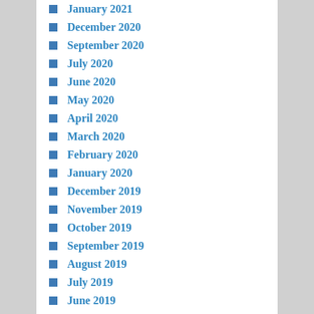January 2021
December 2020
September 2020
July 2020
June 2020
May 2020
April 2020
March 2020
February 2020
January 2020
December 2019
November 2019
October 2019
September 2019
August 2019
July 2019
June 2019
May 2019
April 2019
March 2019
February 2019
January 2019